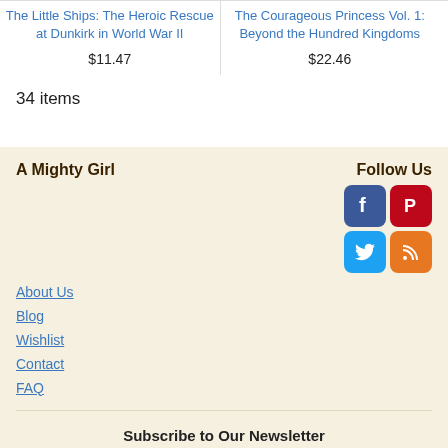The Little Ships: The Heroic Rescue at Dunkirk in World War II
$11.47
The Courageous Princess Vol. 1: Beyond the Hundred Kingdoms
$22.46
34 items
A Mighty Girl
Follow Us
About Us
Blog
Wishlist
Contact
FAQ
Subscribe to Our Newsletter
Email